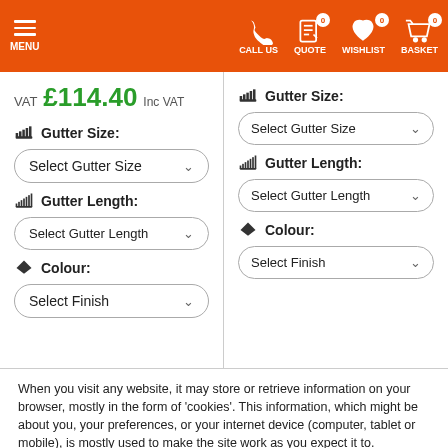MENU | CALL US | QUOTE 0 | WISHLIST 0 | BASKET 0
VAT £114.40 Inc VAT
Gutter Size: Select Gutter Size
Gutter Length: Select Gutter Length
Colour: Select Finish
Gutter Size: Select Gutter Size
Gutter Length: Select Gutter Length
Colour: Select Finish
When you visit any website, it may store or retrieve information on your browser, mostly in the form of 'cookies'. This information, which might be about you, your preferences, or your internet device (computer, tablet or mobile), is mostly used to make the site work as you expect it to.
More info
Accept all